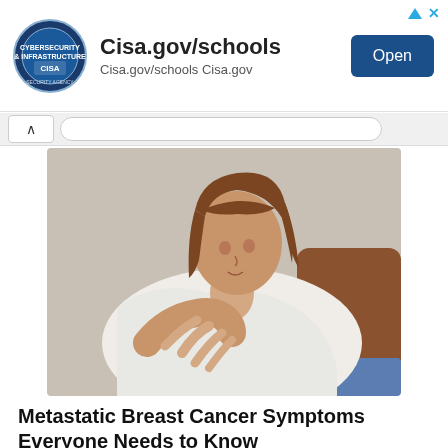[Figure (screenshot): CISA advertisement banner with logo, Cisa.gov/schools text, and Open button]
[Figure (photo): Woman in white t-shirt sitting on brown couch, looking down and holding her chest/breast area with her hand, appearing to be in discomfort]
Metastatic Breast Cancer Symptoms Everyone Needs to Know